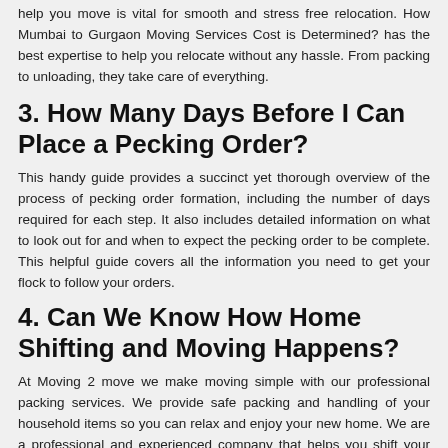help you move is vital for smooth and stress free relocation. How Mumbai to Gurgaon Moving Services Cost is Determined? has the best expertise to help you relocate without any hassle. From packing to unloading, they take care of everything.
3. How Many Days Before I Can Place a Pecking Order?
This handy guide provides a succinct yet thorough overview of the process of pecking order formation, including the number of days required for each step. It also includes detailed information on what to look out for and when to expect the pecking order to be complete. This helpful guide covers all the information you need to get your flock to follow your orders.
4. Can We Know How Home Shifting and Moving Happens?
At Moving 2 move we make moving simple with our professional packing services. We provide safe packing and handling of your household items so you can relax and enjoy your new home. We are a professional and experienced company that helps you shift your home with a minimum of fuss. We take care of all the packing